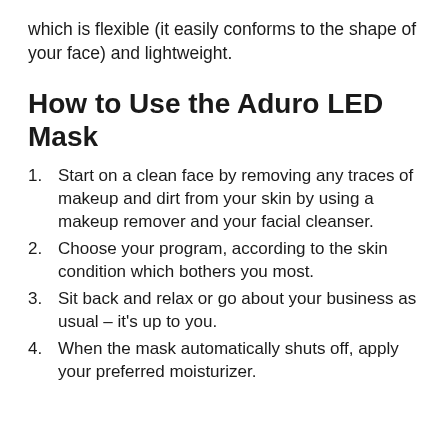which is flexible (it easily conforms to the shape of your face) and lightweight.
How to Use the Aduro LED Mask
Start on a clean face by removing any traces of makeup and dirt from your skin by using a makeup remover and your facial cleanser.
Choose your program, according to the skin condition which bothers you most.
Sit back and relax or go about your business as usual – it's up to you.
When the mask automatically shuts off, apply your preferred moisturizer.